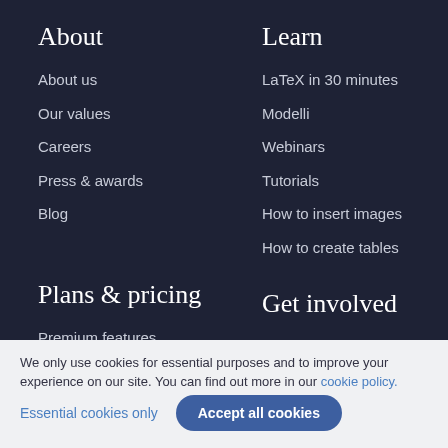About
About us
Our values
Careers
Press & awards
Blog
Learn
LaTeX in 30 minutes
Modelli
Webinars
Tutorials
How to insert images
How to create tables
Plans & pricing
Premium features
Get involved
Become an Overleaf
We only use cookies for essential purposes and to improve your experience on our site. You can find out more in our cookie policy.
Essential cookies only | Accept all cookies